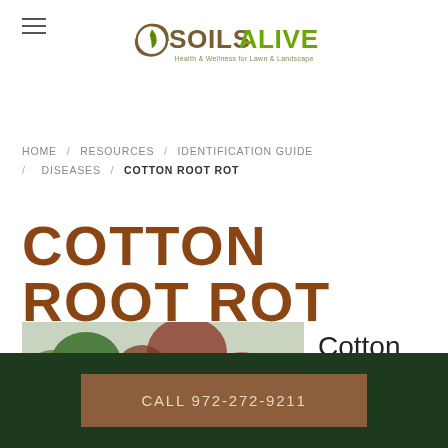[Figure (logo): SoilsAlive logo with tagline: Health & Wellness for Lawn & Landscape]
HOME / RESOURCES / IDENTIFICATION GUIDE / DISEASES / COTTON ROOT ROT
COTTON ROOT ROT
[Figure (photo): Trees with reddish-brown foliage indicating cotton root rot disease]
Cotton root rot
CALL 972-272-9211